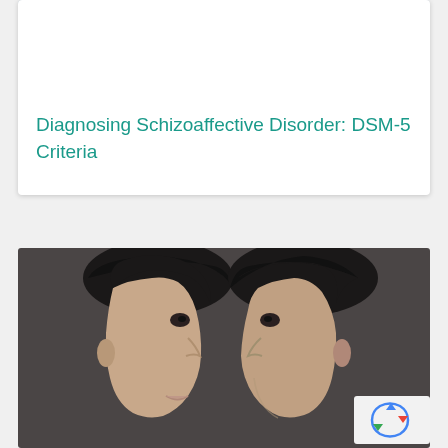[Figure (photo): Banner image with 'Schizoaffective disorder' written in purple italic script font on a light blue-grey background with 'HEALTHYPLACE.COM' watermark in white text at bottom right]
Diagnosing Schizoaffective Disorder: DSM-5 Criteria
[Figure (photo): Two men facing each other in profile against a dark grey background, both with slicked-back dark hair, shown from opposite angles]